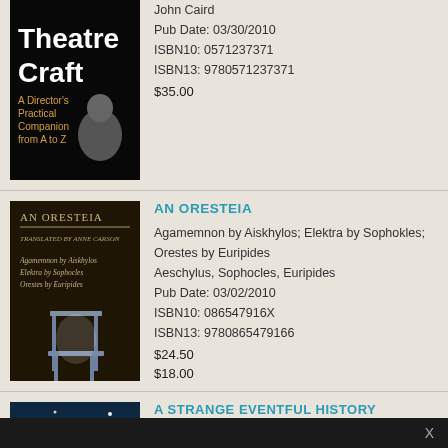[Figure (photo): Theatre Craft book cover — black background with large white text 'Theatre Craft' and subtitle 'A Director's Practical Companion from A to Z', with author photo]
John Caird
Pub Date: 03/30/2010
ISBN10: 0571237371
ISBN13: 9780571237371
$35.00
[Figure (photo): An Oresteia book cover — dark brown background with text listing plays and authors, image of a chair]
AN ORESTEIA
Agamemnon by Aiskhylos; Elektra by Sophokles; Orestes by Euripides
Aeschylus, Sophocles, Euripides
Pub Date: 03/02/2010
ISBN10: 086547916X
ISBN13: 9780865479166
$24.50
$18.00
[Figure (photo): A Strange Eventful History book cover — dark blue/teal with stars and text]
A STRANGE EVENTFUL HISTORY
The Romantic Lives of Ella Terry, Henry Irving...
X